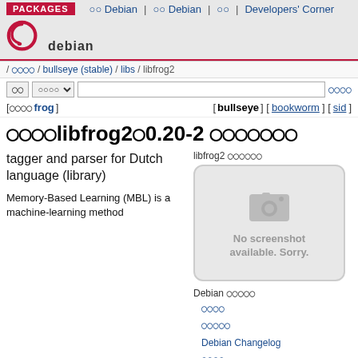PACKAGES | ○○ Debian | ○○ Debian | ○○ | Developers' Corner
debian / ○○○○ / bullseye (stable) / libs / libfrog2
[ ○○○○ frog ] [ bullseye ] [ bookworm ] [ sid ]
○○○○libfrog2○0.20-2 ○○○○○○○
tagger and parser for Dutch language (library)
Memory-Based Learning (MBL) is a machine-learning method
[Figure (screenshot): No screenshot available. Sorry.]
libfrog2 ○○○○○○
Debian ○○○○○
○○○○ | ○○○○○ | Debian Changelog | ○○○○